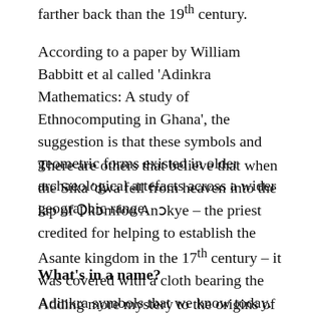farther back than the 19th century.
According to a paper by William Babbitt et al called 'Adinkra Mathematics: A study of Ethnocomputing in Ghana', the suggestion is that these symbols and geometric forms existed in older archaeological artefacts across a wider geographic range.
There are others that believe that when the Sika 'dwa fell from heaven into the lap of Ɔkomfoo Anɔkye – the priest credited for helping to establish the Asante kingdom in the 17th century – it was covered with a cloth bearing the Adinkra symbols that we know today.
What's in a name?
Adding more mystery to the origins of Adinkra is